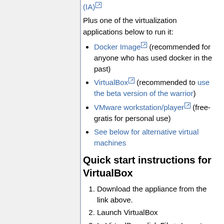(IA) [external link]
Plus one of the virtualization applications below to run it:
Docker Image [external link] (recommended for anyone who has used docker in the past)
VirtualBox [external link] (recommended to use the beta version of the warrior)
VMware workstation/player [external link] (free-gratis for personal use)
See below for alternative virtual machines
Quick start instructions for VirtualBox
Download the appliance from the link above.
Launch VirtualBox
In VirtualBox, click File > Import